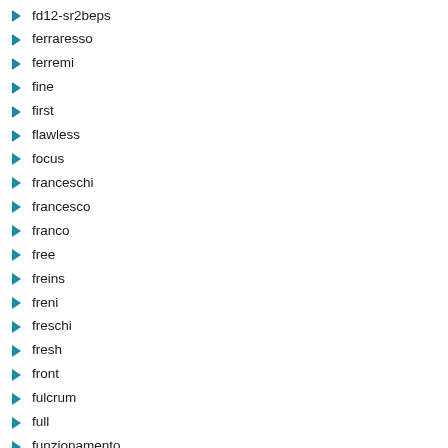fd12-sr2beps
ferraresso
ferremi
fine
first
flawless
focus
franceschi
francesco
franco
free
freins
freni
freschi
fresh
front
fulcrum
full
funzionamento
galmozzi
gamozzi
gazelle
generation
getset